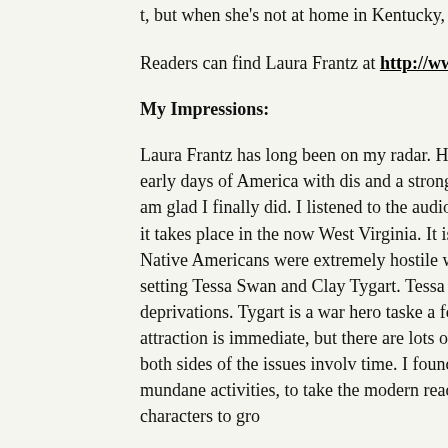t, but when she's not at home in Kentucky, she and her husband live in the Evergreen State.
Readers can find Laura Frantz at http://www.laurafrantz.net
My Impressions:
Laura Frantz has long been on my radar. Her books check all the boxes for me: well-researched historical fiction set in the early days of America with distinctive characters and a strong sense of place. So why have I waited so long to read one? I have no idea, but I am glad I finally did. I listened to the audiobook of An Unco in the years leading up to the Revolutionary War, it takes place in the now West Virginia. It is hard to believe that this was once the rough f between settlers and Native Americans were extremely hostile with and kidnappings being the common fears of the day. Into this setting Tessa Swan and Clay Tygart. Tessa is the only daughter in a family fil and is used to hard work and deprivations. Tygart is a war hero taske a fort and defending the settlers who are claiming the land as their o attraction is immediate, but there are lots of obstacles including the hostilities. I liked that Frantz presented both sides of the issues invol time. I found the setting fascinating, and loved how Frantz incorpo language to mundane activities, to take the modern reader back in t thread progressed naturally allowing for both characters to gro